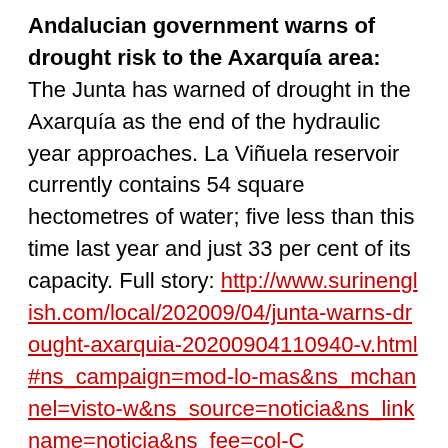Andalucian government warns of drought risk to the Axarquía area: The Junta has warned of drought in the Axarquía as the end of the hydraulic year approaches. La Viñuela reservoir currently contains 54 square hectometres of water; five less than this time last year and just 33 per cent of its capacity. Full story: http://www.surinenglish.com/local/202009/04/junta-warns-drought-axarquia-20200904110940-v.html#ns_campaign=mod-lo-mas&ns_mchannel=visto-w&ns_source=noticia&ns_linkname=noticia&ns_fee=col-C